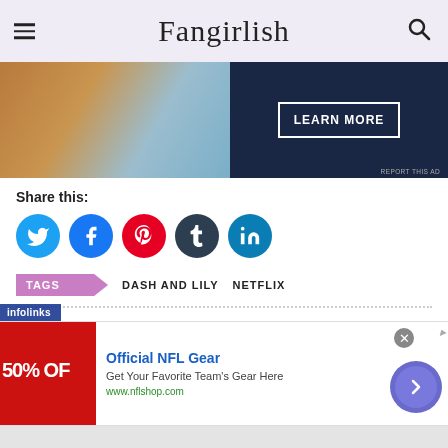Fangirlish
[Figure (photo): Advertisement banner showing a person and a dark navy panel with a LEARN MORE button]
Share this:
[Figure (infographic): Social share icons: Twitter (blue), Facebook (blue), Pinterest (red), Tumblr (dark), LinkedIn (teal)]
TAGS  DASH AND LILY  NETFLIX
Erin E. Gross
Works too hard. Plays too little. Wouldn't have it any other way. Head Bitch
[Figure (infographic): infolinks ad overlay and NFL Gear advertisement with 50% OFF banner]